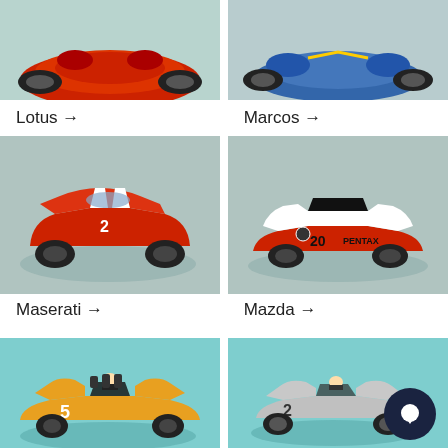[Figure (photo): Partial top view of a red Lotus die-cast model car on teal background]
[Figure (photo): Partial top view of a blue Marcos die-cast model car on teal background]
Lotus →
Marcos →
[Figure (photo): Red Maserati racing die-cast car with number 2 and white stripes on teal background]
[Figure (photo): White and red Mazda die-cast car with Pentax number 20 livery on teal background]
Maserati →
Mazda →
[Figure (photo): Yellow McLaren number 5 open-wheel racing die-cast car on teal background]
[Figure (photo): Silver Mercedes formula car number 2 with driver figure on teal background]